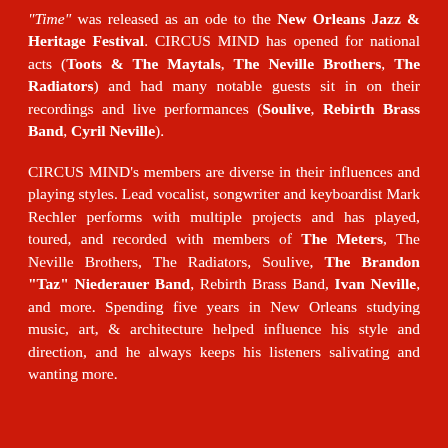"Time" was released as an ode to the New Orleans Jazz & Heritage Festival. CIRCUS MIND has opened for national acts (Toots & The Maytals, The Neville Brothers, The Radiators) and had many notable guests sit in on their recordings and live performances (Soulive, Rebirth Brass Band, Cyril Neville).
CIRCUS MIND's members are diverse in their influences and playing styles. Lead vocalist, songwriter and keyboardist Mark Rechler performs with multiple projects and has played, toured, and recorded with members of The Meters, The Neville Brothers, The Radiators, Soulive, The Brandon "Taz" Niederauer Band, Rebirth Brass Band, Ivan Neville, and more. Spending five years in New Orleans studying music, art, & architecture helped influence his style and direction, and he always keeps his listeners salivating and wanting more.